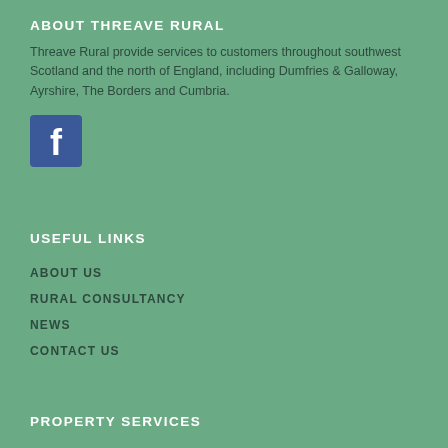ABOUT THREAVE RURAL
Threave Rural provide services to customers throughout southwest Scotland and the north of England, including Dumfries & Galloway, Ayrshire, The Borders and Cumbria.
[Figure (logo): Facebook logo icon — blue square with white letter f]
USEFUL LINKS
ABOUT US
RURAL CONSULTANCY
NEWS
CONTACT US
PROPERTY SERVICES
PROPERTY SALES